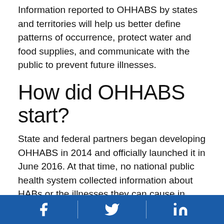Information reported to OHHABS by states and territories will help us better define patterns of occurrence, protect water and food supplies, and communicate with the public to prevent future illnesses.
How did OHHABS start?
State and federal partners began developing OHHABS in 2014 and officially launched it in June 2016. At that time, no national public health system collected information about HABs or the illnesses they can cause in humans and animals. CDC worked closely with state and federal partners to develop OHHABS, building on lessons learned from national outbreak surveillance, health investigations, and HAB
Facebook | Twitter | LinkedIn